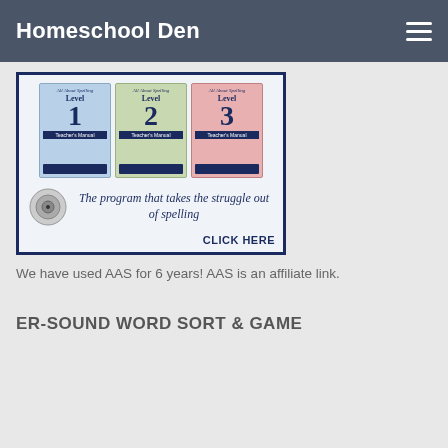Homeschool Den
[Figure (illustration): Advertisement for All About Spelling program showing three spelling workbooks (Level 1, Level 2, Level 3) with text 'The program that takes the struggle out of spelling' and 'CLICK HERE']
We have used AAS for 6 years! AAS is an affiliate link.
ER-SOUND WORD SORT & GAME